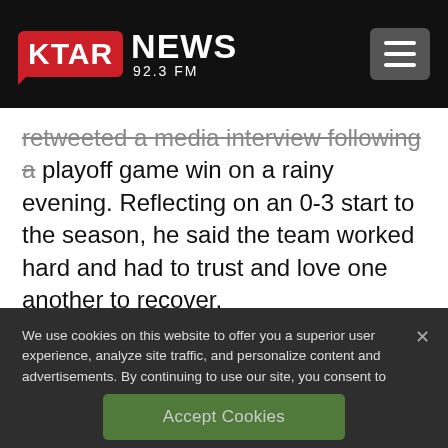KTAR NEWS 92.3 FM
retweeted a media interview following a playoff game win on a rainy evening. Reflecting on an 0-3 start to the season, he said the team worked hard and had to trust and love one another to recover.
We use cookies on this website to offer you a superior user experience, analyze site traffic, and personalize content and advertisements. By continuing to use our site, you consent to our use of cookies. Please visit our Privacy Policy for more information.
Accept Cookies